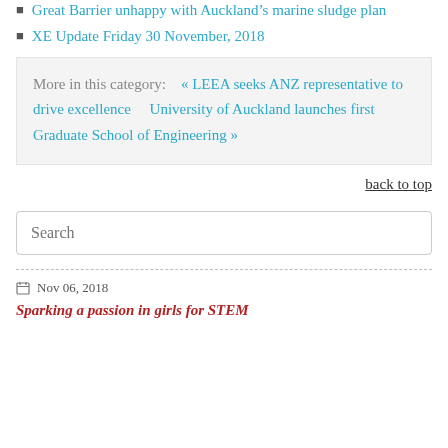Great Barrier unhappy with Auckland's marine sludge plan
XE Update Friday 30 November, 2018
More in this category:   « LEEA seeks ANZ representative to drive excellence     University of Auckland launches first Graduate School of Engineering »
back to top
Search
Nov 06, 2018
Sparking a passion in girls for STEM